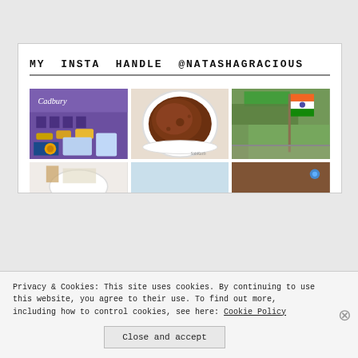MY INSTA HANDLE @NATASHAGRACIOUS
[Figure (photo): Instagram photo grid showing 6 photos: Cadbury chocolate store with gifts, a chocolate mug cake in a white bowl, an Indian flag (tricolor) hanging outside with green trees, and three partially visible photos in the bottom row.]
Privacy & Cookies: This site uses cookies. By continuing to use this website, you agree to their use. To find out more, including how to control cookies, see here: Cookie Policy
Close and accept